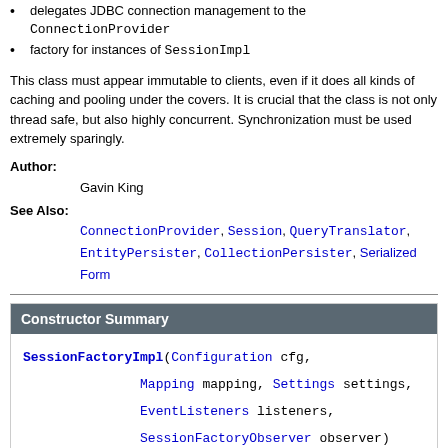delegates JDBC connection management to the ConnectionProvider
factory for instances of SessionImpl
This class must appear immutable to clients, even if it does all kinds of caching and pooling under the covers. It is crucial that the class is not only thread safe, but also highly concurrent. Synchronization must be used extremely sparingly.
Author: Gavin King
See Also: ConnectionProvider, Session, QueryTranslator, EntityPersister, CollectionPersister, Serialized Form
Constructor Summary
SessionFactoryImpl(Configuration cfg, Mapping mapping, Settings settings, EventListeners listeners, SessionFactoryObserver observer)
Method Summary
|  |  |
| --- | --- |
| void | close()
Closes the session factory, relea... |